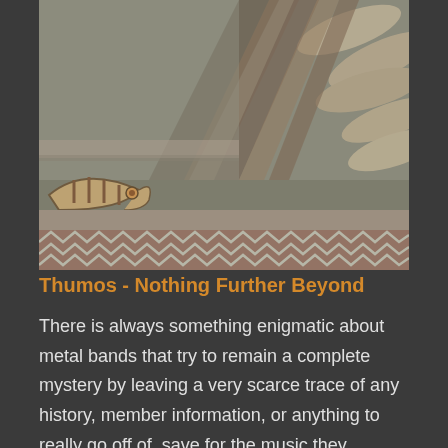[Figure (photo): Ancient mosaic artwork showing a boat or ship in the lower left, with striped diagonal patterns in the upper right and a zigzag border along the bottom. The mosaic appears to be of Roman or Byzantine origin with earth tones of brown, grey, and rust.]
Thumos - Nothing Further Beyond
There is always something enigmatic about metal bands that try to remain a complete mystery by leaving a very scarce trace of any history, member information, or anything to really go off of, save for the music they present. U.S